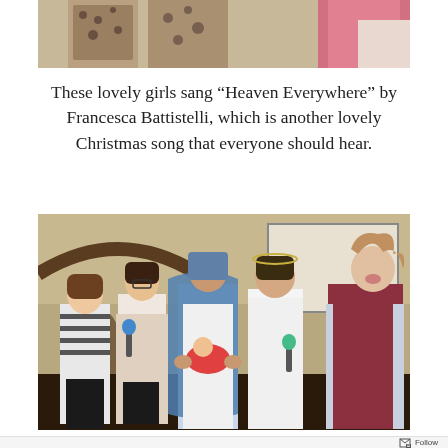[Figure (photo): Top portion of a photo showing girls in patterned sweaters and a pink dress, partially cropped at the top of the page.]
These lovely girls sang “Heaven Everywhere” by Francesca Battistelli, which is another lovely Christmas song that everyone should hear.
[Figure (photo): Five girls standing in a church singing; one is dressed as Mary holding a baby in a red outfit, one wears a white angel costume, two hold microphones, and one has curly hair looking upward. Church wooden architecture and a projection screen visible in the background.]
Follow